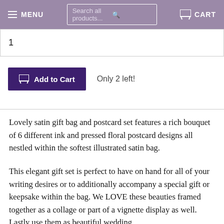MENU  Search all products...  CART
1
Add to Cart   Only 2 left!
Lovely satin gift bag and postcard set features a rich bouquet of 6 different ink and pressed floral postcard designs all nestled within the softest illustrated satin bag.
This elegant gift set is perfect to have on hand for all of your writing desires or to additionally accompany a special gift or keepsake within the bag. We LOVE these beauties framed together as a collage or part of a vignette display as well. Lastly use them as beautiful wedding